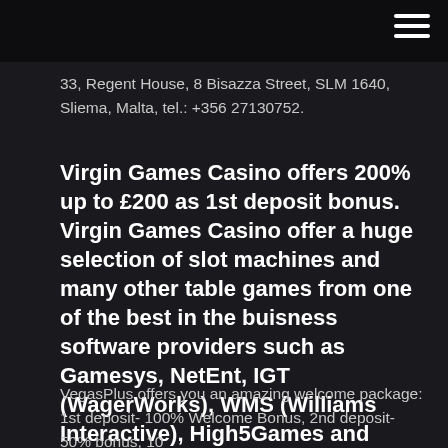33, Regent House, 8 Bisazza Street, SLM 1640, Sliema, Malta, tel.: +356 27130752.
Virgin Games Casino offers 200% up to £200 as 1st deposit bonus. Virgin Games Casino offer a huge selection of slot machines and many other table games from one of the best in the buisness software providers such as Gamesys, NetEnt, IGT (WagerWorks), WMS (Williams Interactive), High5Games and Hasbro. To get welcome bonus …
VegasPlus offers you an amazing welcome package: 1st deposit- 100% Welcome Bonus, 2nd deposit- 50% bonus, 10